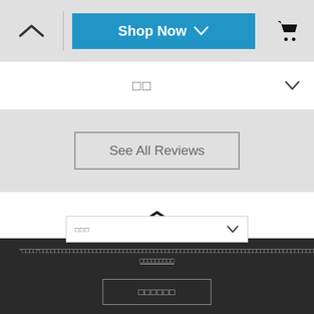[Figure (screenshot): Top navigation bar with up chevron, Shop Now button, and cart icon on grey background]
□□
See All Reviews
[Figure (logo): Universal Audio diamond logo with UA INC. inside and UNIVERSAL AUDIO text below]
□□□
"□□□□"□□□□□□□□□□□□□□□□□□□□□□□□□□□□□□□□□□□□□□□□□□□□□□□□□□□□□□□□□□□□□□□□□□□□□□□□□□□□□□□□□□□□□□□□□□□□□□□□□□□□□□□□□□□□□□□□□□
□□□□□□